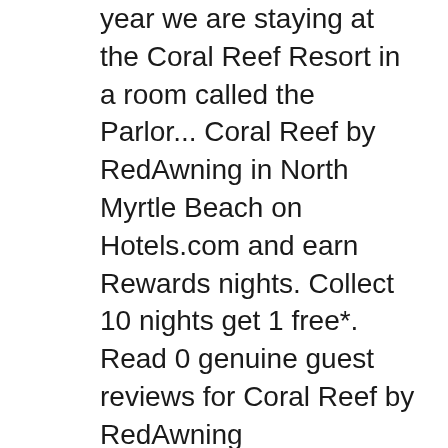year we are staying at the Coral Reef Resort in a room called the Parlor... Coral Reef by RedAwning in North Myrtle Beach on Hotels.com and earn Rewards nights. Collect 10 nights get 1 free*. Read 0 genuine guest reviews for Coral Reef by RedAwning
Coral Reef Home This neighborhood is a great choice for travelers interested in sandy beaches, restaurants and the oceanside – Check location North Myrtle Beach, Myrtle Beach, 29582, United States of America – This neighborhood is a great choice for travelers interested in sandy beaches, restaurants and the oceanside – Check location Show map One of our top picks in Myrtle Beach.